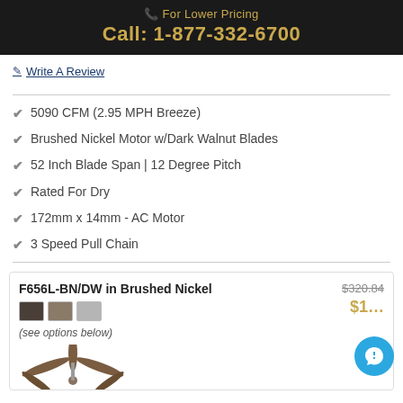For Lower Pricing
Call: 1-877-332-6700
✎ Write A Review
5090 CFM (2.95 MPH Breeze)
Brushed Nickel Motor w/Dark Walnut Blades
52 Inch Blade Span | 12 Degree Pitch
Rated For Dry
172mm x 14mm - AC Motor
3 Speed Pull Chain
F656L-BN/DW in Brushed Nickel
$320.84
$1XX
(see options below)